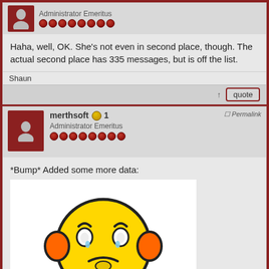Administrator Emeritus
Haha, well, OK. She's not even in second place, though. The actual second place has 335 messages, but is off the list.
Shaun
↑ quote
merthsoft 🏅 1 Administrator Emeritus
Permalink
*Bump* Added some more data:
[Figure (illustration): A sad yellow emoji character with orange headphone-like features and blue feet, with 'tinypic' logo text below it]